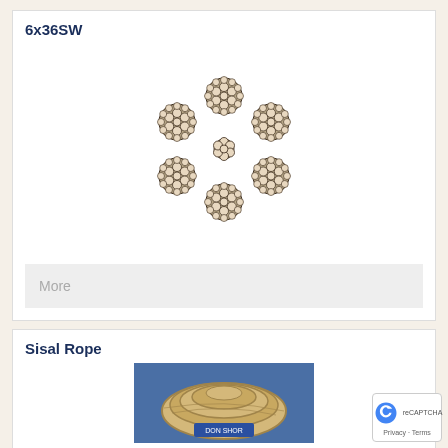6x36SW
[Figure (illustration): Cross-sectional diagram of a 6x36SW wire rope showing 7 strands each composed of multiple wire filaments arranged in a circular pattern]
More
Sisal Rope
[Figure (photo): Photo of a coil of sisal rope with a blue label, set against a blue background]